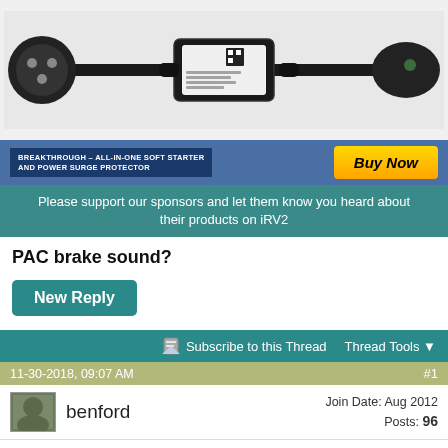[Figure (photo): SoftStartUp product advertisement showing a soft starter and power surge protector device with cable connections on both sides. Bottom has dark blue badge text 'BREAKTHROUGH - ALL-IN-ONE SOFT STARTER AND POWER SURGE PROTECTOR' and an orange 'Buy Now' button.]
Please support our sponsors and let them know you heard about their products on iRV2
PAC brake sound?
New Reply
Subscribe to this Thread   Thread Tools
11-30-2018, 09:07 AM   #1
benford   Join Date: Aug 2012  Posts: 96
PAC brake sound?
Wanted to ask about this PAC brake, What is it supposed to sound like when it's activated?
I get a moderately loud whooshing air sound is this right or do I have something leaking air like a hose on the PAC?